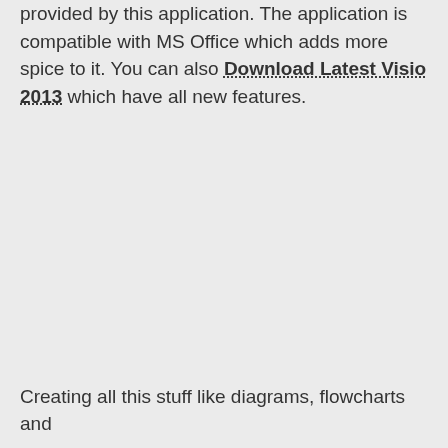provided by this application. The application is compatible with MS Office which adds more spice to it. You can also Download Latest Visio 2013 which have all new features.
Creating all this stuff like diagrams, flowcharts and